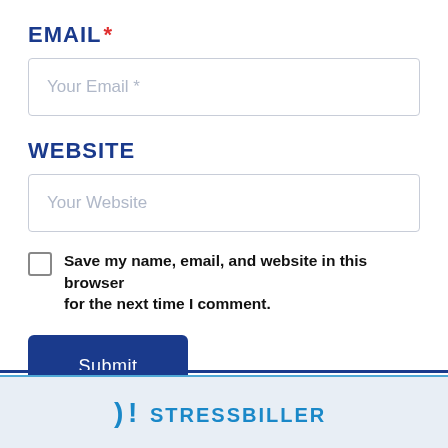EMAIL *
Your Email *
WEBSITE
Your Website
Save my name, email, and website in this browser for the next time I comment.
Submit
[Figure (logo): Stressbiller logo with blue icon and text at bottom footer]